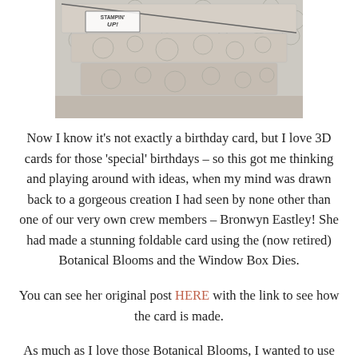[Figure (photo): Photo of stacked decorative patterned boxes with a Stampin' Up! label visible on one of the boxes]
Now I know it's not exactly a birthday card, but I love 3D cards for those 'special' birthdays – so this got me thinking and playing around with ideas, when my mind was drawn back to a gorgeous creation I had seen by none other than one of our very own crew members – Bronwyn Eastley! She had made a stunning foldable card using the (now retired) Botanical Blooms and the Window Box Dies.
You can see her original post HERE with the link to see how the card is made.
As much as I love those Botanical Blooms, I wanted to use one of my most favourite floral current products – Tranquil Tulips (yes...again...)!